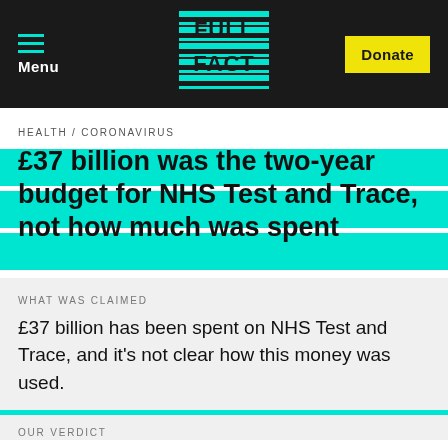Menu | Full Fact | Donate
HEALTH / CORONAVIRUS
£37 billion was the two-year budget for NHS Test and Trace, not how much was spent
16 MAY 2022
WHAT WAS CLAIMED
£37 billion has been spent on NHS Test and Trace, and it's not clear how this money was used.
OUR VERDICT